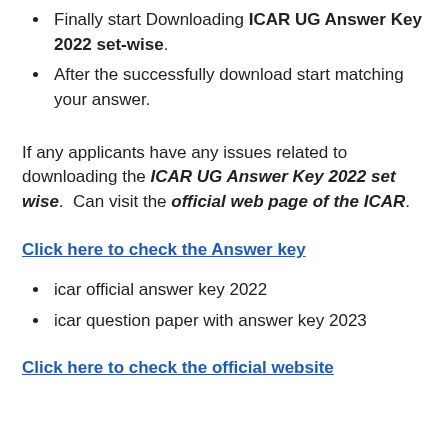Finally start Downloading ICAR UG Answer Key 2022 set-wise.
After the successfully download start matching your answer.
If any applicants have any issues related to downloading the ICAR UG Answer Key 2022 set wise. Can visit the official web page of the ICAR.
Click here to check the Answer key
icar official answer key 2022
icar question paper with answer key 2023
Click here to check the official website